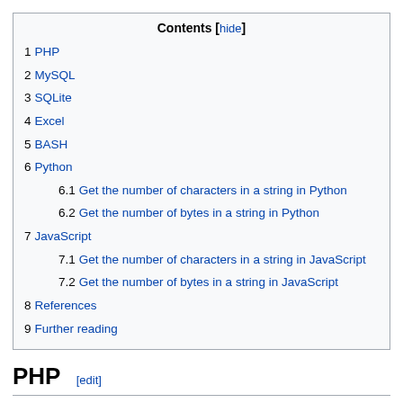| Contents [hide] |
| 1 PHP |
| 2 MySQL |
| 3 SQLite |
| 4 Excel |
| 5 BASH |
| 6 Python |
| 6.1 Get the number of characters in a string in Python |
| 6.2 Get the number of bytes in a string in Python |
| 7 JavaScript |
| 7.1 Get the number of characters in a string in JavaScript |
| 7.2 Get the number of bytes in a string in JavaScript |
| 8 References |
| 9 Further reading |
PHP [edit]
MySQL [edit]